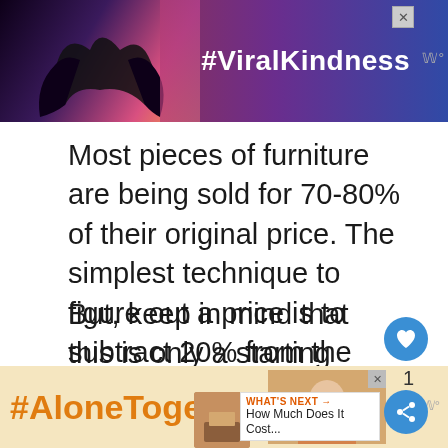[Figure (screenshot): Advertisement banner with #ViralKindness hashtag, sunset/silhouette hands background, close button]
Most pieces of furniture are being sold for 70-80% of their original price. The simplest technique to figure out a price is to subtract 20% from the sale price. This is an industry-standard and a good reference for quality secondhand furniture.
But, keep in mind that this is only a starting point. You may adjust the pricing based on many different parameters.
[Figure (screenshot): Advertisement banner with #AloneTogether hashtag on yellow/cream background with woman photo]
[Figure (screenshot): What's Next widget showing 'How Much Does It Cost...' with thumbnail]